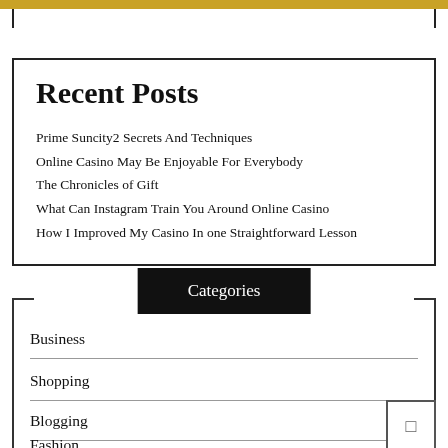Recent Posts
Prime Suncity2 Secrets And Techniques
Online Casino May Be Enjoyable For Everybody
The Chronicles of Gift
What Can Instagram Train You Around Online Casino
How I Improved My Casino In one Straightforward Lesson
Categories
Business
Shopping
Blogging
Fashion